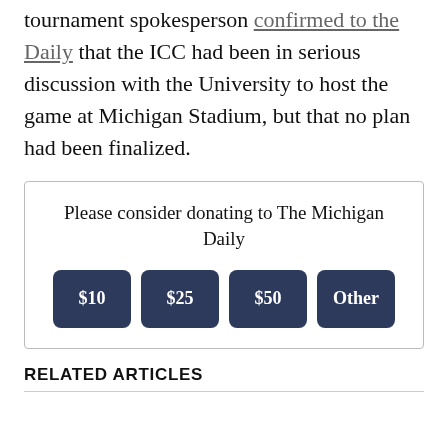tournament spokesperson confirmed to the Daily that the ICC had been in serious discussion with the University to host the game at Michigan Stadium, but that no plan had been finalized.
Please consider donating to The Michigan Daily
$10
$25
$50
Other
RELATED ARTICLES